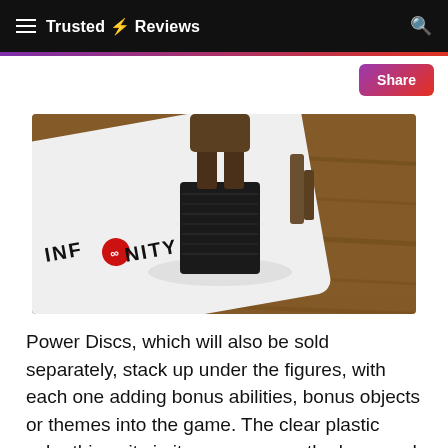Trusted Reviews
[Figure (photo): Close-up photo of a Disney Infinity figure standing on a black platform base, placed on the white Infinity game base/pad on a wooden surface. The Infinity logo is visible on the card.]
Power Discs, which will also be sold separately, stack up under the figures, with each one adding bonus abilities, bonus objects or themes into the game. The clear plastic cube thing sits in its own area on the base and enable